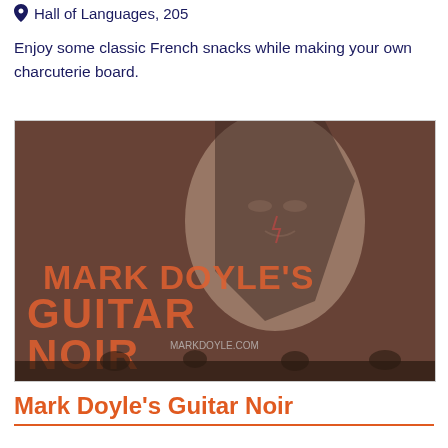Hall of Languages, 205
Enjoy some classic French snacks while making your own charcuterie board.
[Figure (photo): Promotional image for Mark Doyle's Guitar Noir event, showing a stylized face illustration in the background and the text 'MARK DOYLE'S GUITAR NOIR' in large orange letters, with 'MARKDOYLE.COM' watermark, and musicians visible at the bottom.]
Mark Doyle's Guitar Noir